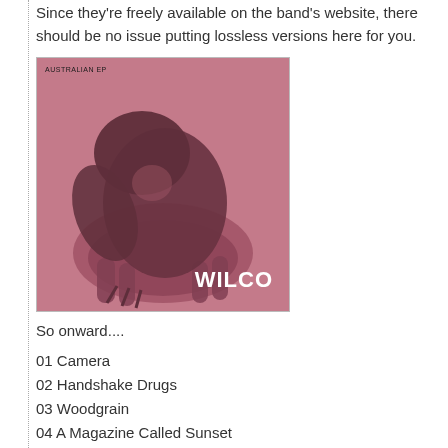Since they're freely available on the band's website, there should be no issue putting lossless versions here for you.
[Figure (photo): Album cover for Wilco's Australian EP showing a small animal (platypus or similar) held in a hand, with a pink/maroon duotone color treatment. Text reads 'AUSTRALIAN EP' at top left and 'WILCO' at bottom right in white bold letters.]
So onward....
01 Camera
02 Handshake Drugs
03 Woodgrain
04 A Magazine Called Sunset